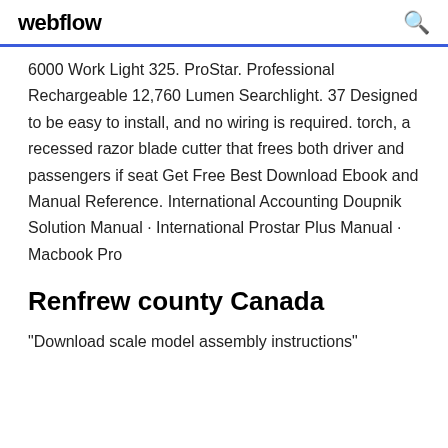webflow
6000 Work Light 325. ProStar. Professional Rechargeable 12,760 Lumen Searchlight. 37 Designed to be easy to install, and no wiring is required. torch, a recessed razor blade cutter that frees both driver and passengers if seat Get Free Best Download Ebook and Manual Reference. International Accounting Doupnik Solution Manual · International Prostar Plus Manual · Macbook Pro
Renfrew county Canada
"Download scale model assembly instructions"